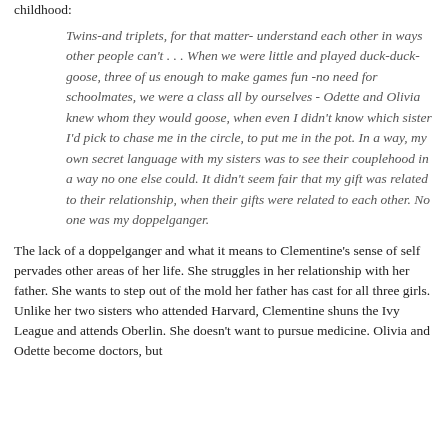childhood:
Twins-and triplets, for that matter- understand each other in ways other people can't . . . When we were little and played duck-duck-goose, three of us enough to make games fun -no need for schoolmates, we were a class all by ourselves - Odette and Olivia knew whom they would goose, when even I didn't know which sister I'd pick to chase me in the circle, to put me in the pot. In a way, my own secret language with my sisters was to see their couplehood in a way no one else could. It didn't seem fair that my gift was related to their relationship, when their gifts were related to each other. No one was my doppelganger.
The lack of a doppelganger and what it means to Clementine's sense of self pervades other areas of her life. She struggles in her relationship with her father. She wants to step out of the mold her father has cast for all three girls. Unlike her two sisters who attended Harvard, Clementine shuns the Ivy League and attends Oberlin. She doesn't want to pursue medicine. Olivia and Odette become doctors, but